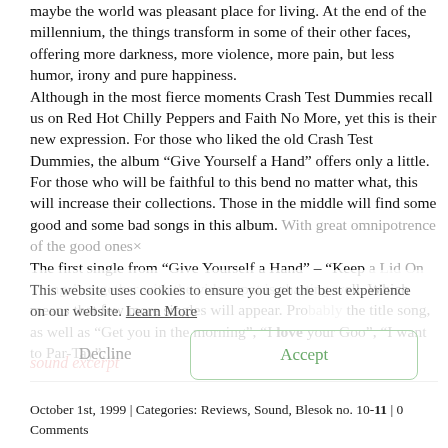maybe the world was pleasant place for living. At the end of the millennium, the things transform in some of their other faces, offering more darkness, more violence, more pain, but less humor, irony and pure happiness. Although in the most fierce moments Crash Test Dummies recall us on Red Hot Chilly Peppers and Faith No More, yet this is their new expression. For those who liked the old Crash Test Dummies, the album “Give Yourself a Hand” offers only a little. For those who will be faithful to this bend no matter what, this will increase their collections. Those in the middle will find some good and some bad songs in this album. With great omnipotrence of the good ones× The first single from “Give Yourself a Hand” – “Keep a Lid On Things”, together with the video spot is charting well. Which means that few more singles will appear. Probably the title song, as well as “Get you in the morning”, “I love your Goo”, “I want to Par-Tay”…
This website uses cookies to ensure you get the best experience on our website. Learn More
Decline
Accept
sound excerpt
October 1st, 1999 | Categories: Reviews, Sound, Blesok no. 10-11 | 0 Comments